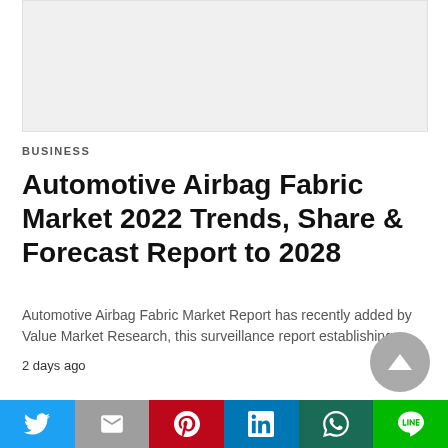[Figure (other): Advertisement placeholder banner, light gray background]
BUSINESS
Automotive Airbag Fabric Market 2022 Trends, Share & Forecast Report to 2028
Automotive Airbag Fabric Market Report has recently added by Value Market Research, this surveillance report establishing…
2 days ago
[Figure (other): Scroll to top button, circular gray button with upward triangle arrow]
[Figure (infographic): Social media sharing bar with Twitter, Gmail, Pinterest, LinkedIn, WhatsApp, and LINE buttons]